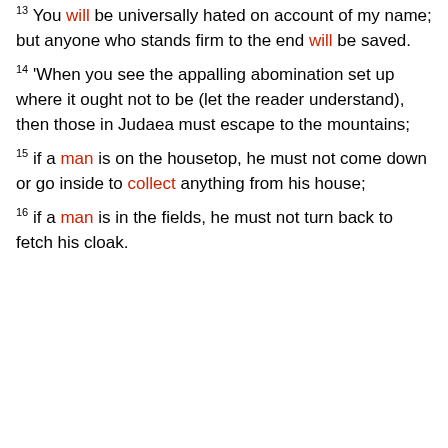13 You will be universally hated on account of my name; but anyone who stands firm to the end will be saved.
14 'When you see the appalling abomination set up where it ought not to be (let the reader understand), then those in Judaea must escape to the mountains;
15 if a man is on the housetop, he must not come down or go inside to collect anything from his house;
16 if a man is in the fields, he must not turn back to fetch his cloak.